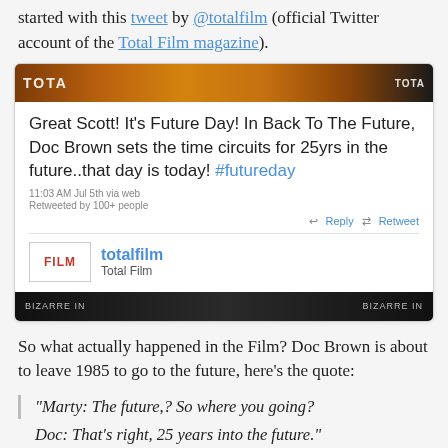started with this tweet by @totalfilm (official Twitter account of the Total Film magazine).
[Figure (screenshot): Screenshot of a tweet from @totalfilm (Total Film magazine) reading: 'Great Scott! It's Future Day! In Back To The Future, Doc Brown sets the time circuits for 25yrs in the future..that day is today! #futureday' posted 11:03 AM Jul 5th via web, Retweeted by 100+ people. Shows Total Film logo and username.]
So what actually happened in the Film? Doc Brown is about to leave 1985 to go to the future, here's the quote:
"Marty: The future,? So where you going?
Doc: That's right, 25 years into the future."